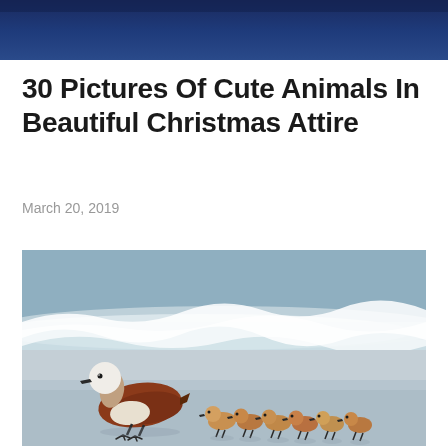[Figure (photo): Dark navy/blue header banner image at top of page]
30 Pictures Of Cute Animals In Beautiful Christmas Attire
March 20, 2019
[Figure (photo): A ruddy shelduck (adult bird with white head and rust-colored body) walking on a wet beach with six small ducklings following behind, ocean waves in background]